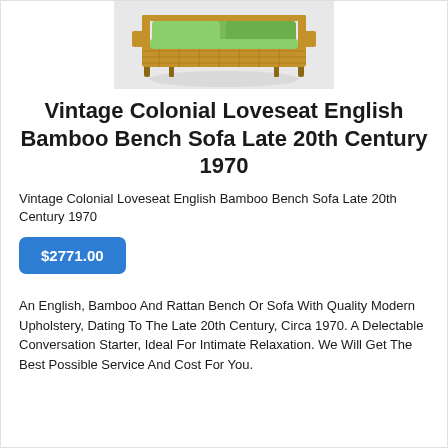[Figure (photo): A vintage colonial loveseat/bench sofa made of bamboo and rattan with upholstered cushions, photographed against a white background.]
Vintage Colonial Loveseat English Bamboo Bench Sofa Late 20th Century 1970
Vintage Colonial Loveseat English Bamboo Bench Sofa Late 20th Century 1970
$2771.00
An English, Bamboo And Rattan Bench Or Sofa With Quality Modern Upholstery, Dating To The Late 20th Century, Circa 1970. A Delectable Conversation Starter, Ideal For Intimate Relaxation. We Will Get The Best Possible Service And Cost For You.